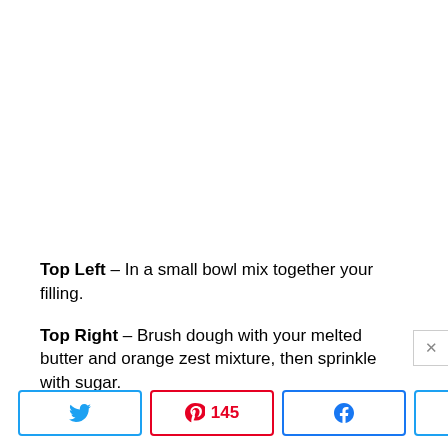Top Left – In a small bowl mix together your filling.
Top Right – Brush dough with your melted butter and orange zest mixture, then sprinkle with sugar.